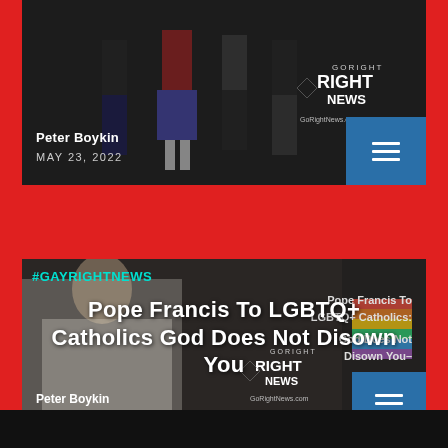[Figure (screenshot): Top news card: Men in kilts/tartans at event with Go Right News watermark overlay. Author: Peter Boykin, Date: MAY 23, 2022. Teal accent bar and blue menu button visible.]
[Figure (screenshot): Bottom news card: Pope Francis meeting LGBTQ+ Catholic with rainbow flag. Hashtag #GAYRIGHTNEWS top left, overlaid title text 'Pope Francis To LGBTQ+ Catholics: God Does Not Disown You'. Author: Peter Boykin. Go Right News watermark. Blue menu button and teal accent bar.]